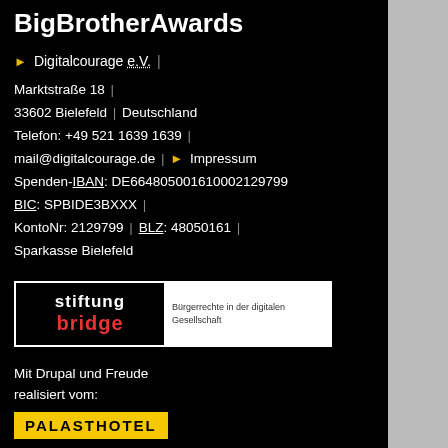BigBrotherAwards
▶ Digitalcourage e.V. |
Marktstraße 18 | 33602 Bielefeld | Deutschland | Telefon: +49 521 1639 1639 | mail@digitalcourage.de | ▶ Impressum | Spenden-IBAN: DE66480500161 0002129799 | BIC: SPBIDE3BXXX | KontoNr: 2129799 | BLZ: 48050161 | Sparkasse Bielefeld
[Figure (logo): Stiftung Bridge logo - Bürgerrechte in der digitalen Gesellschaft]
Mit Drupal und Freude realisiert vom:
[Figure (logo): PALASTHOTEL logo in yellow box]